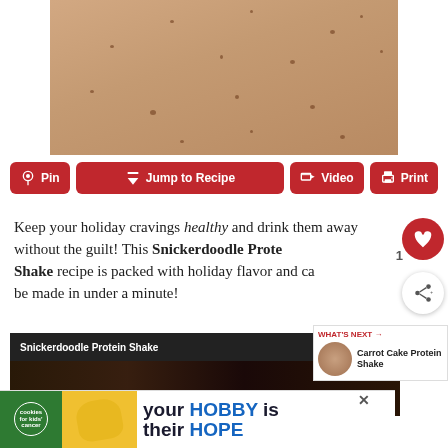[Figure (photo): Close-up photo of skin with small dark spots/freckles on a light beige skin-toned background]
[Figure (other): Row of four red buttons: Pin, Jump to Recipe, Video, Print]
Keep your holiday cravings healthy and drink them away without the guilt! This Snickerdoodle Protein Shake recipe is packed with holiday flavor and can be made in under a minute!
[Figure (screenshot): Video player showing Snickerdoodle Protein Shake with dark kitchen background]
[Figure (other): What's Next sidebar: Carrot Cake Protein Shake thumbnail]
[Figure (other): Advertisement banner: cookies for kid's cancer - your HOBBY is their HOPE]